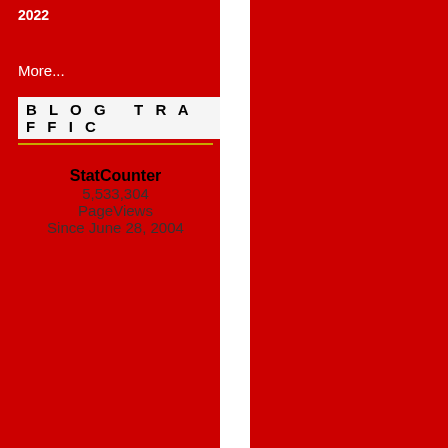2022
More...
BLOG TRAFFIC
StatCounter
5,533,304
PageViews
Since June 28, 2004